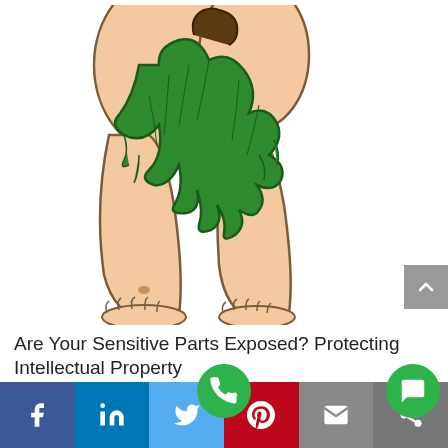[Figure (illustration): Cartoon illustration of a caveman-style figure from the waist down, wearing a green leafy loincloth, with bare skin tones and bare feet visible. The figure is facing away showing the back/rear.]
Are Your Sensitive Parts Exposed? Protecting Intellectual Property
[Figure (infographic): Social sharing bar at bottom with Facebook (blue), LinkedIn (blue), Twitter (light blue), Pinterest (red), Email (gray), and Share (gray) buttons. A green phone FAB button floats above the Twitter section, and a green chat FAB button floats above the right side.]